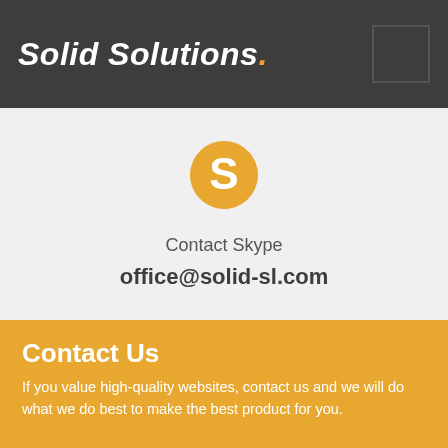Solid Solutions.
[Figure (logo): Skype logo icon in orange/yellow color]
Contact Skype
office@solid-sl.com
Contact Us
If you value high-quality websites, contact us and we will do what we do best to make the best product for you.